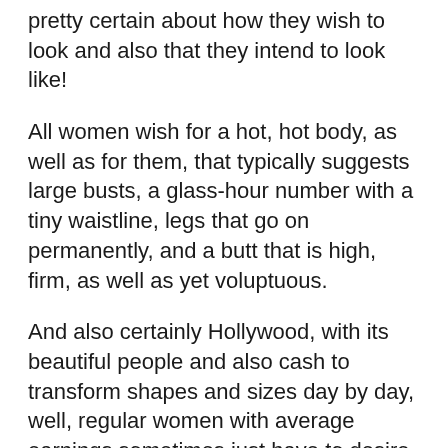pretty certain about how they wish to look and also that they intend to look like!
All women wish for a hot, hot body, as well as for them, that typically suggests large busts, a glass-hour number with a tiny waistline, legs that go on permanently, and a butt that is high, firm, as well as yet voluptuous.
And also certainly Hollywood, with its beautiful people and also cash to transform shapes and sizes day by day, well, regular women with average earnings sometimes just have to desire … They have to rely upon push-up bras or the latest creams and also remedies that guarantee a voluptuous cleavage.